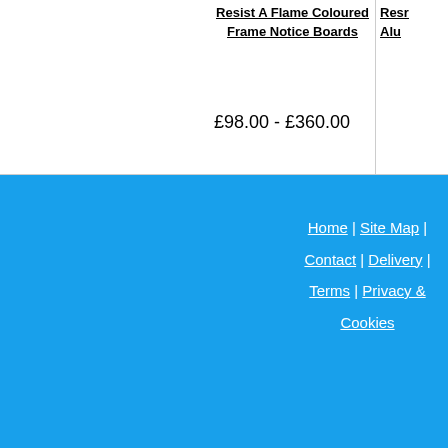Resist A Flame Coloured Frame Notice Boards
£98.00  -  £360.00
Resl... Alu...
Home | Site Map | Contact | Delivery | Terms | Privacy & Cookies | © 2022 www.schoolsigns-uk.co.uk , A Website Owned by Signs Scott Ltd | Unit B, Munday Works...
[Figure (logo): Social media icons: Facebook (dark blue), LinkedIn (teal), RSS feed (orange), Tumblr (light blue)]